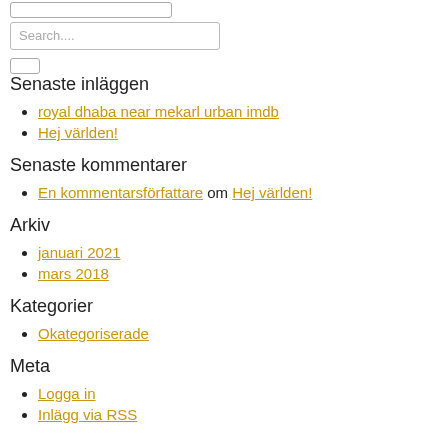[search box outline]
Search....
Senaste inläggen
royal dhaba near mekarl urban imdb
Hej världen!
Senaste kommentarer
En kommentarsförfattare om Hej världen!
Arkiv
januari 2021
mars 2018
Kategorier
Okategoriserade
Meta
Logga in
Inlägg via RSS